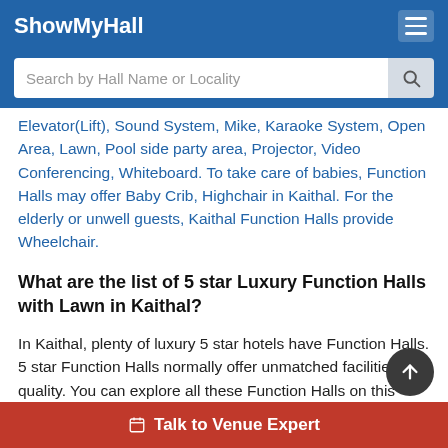ShowMyHall
Elevator(Lift), Sound System, Mike, Karaoke System, Open Area, Lawn, Pool side party area, Projector, Video Conferencing, Whiteboard. To take care of babies, Function Halls may offer Baby Crib, Highchair in Kaithal. For the elderly or unwell guests, Kaithal Function Halls provide Wheelchair.
What are the list of 5 star Luxury Function Halls with Lawn in Kaithal?
In Kaithal, plenty of luxury 5 star hotels have Function Halls. 5 star Function Halls normally offer unmatched facilities and quality. You can explore all these Function Halls on this page.
Talk to Venue Expert